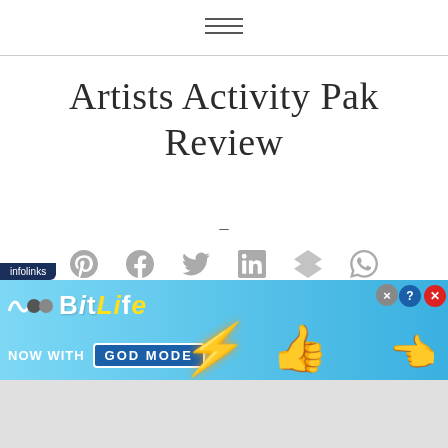[Figure (other): Hamburger menu icon (three horizontal lines)]
Artists Activity Pak Review
–
[Figure (other): Social share icons row: Pinterest, Facebook, Twitter, LinkedIn, Buffer/layers, WhatsApp]
[Figure (other): Social share icons row 2: Mix (formerly StumbleUpon), Email]
[Figure (other): Advertisement banner: infolinks label, BitLife NOW WITH GOD MODE advertisement with lightning bolt, thumbs up hand, and pointing hand graphics]